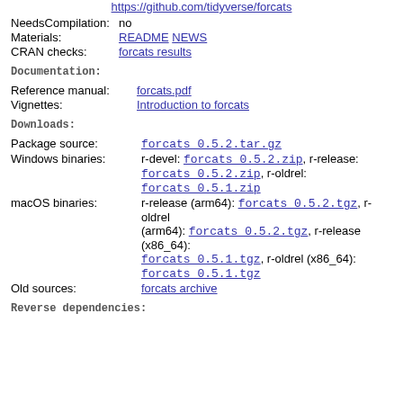https://github.com/tidyverse/forcats
NeedsCompilation: no
Materials: README NEWS
CRAN checks: forcats results
Documentation:
Reference manual: forcats.pdf
Vignettes: Introduction to forcats
Downloads:
Package source: forcats_0.5.2.tar.gz
Windows binaries: r-devel: forcats_0.5.2.zip, r-release: forcats_0.5.2.zip, r-oldrel: forcats_0.5.1.zip
macOS binaries: r-release (arm64): forcats_0.5.2.tgz, r-oldrel (arm64): forcats_0.5.2.tgz, r-release (x86_64): forcats_0.5.1.tgz, r-oldrel (x86_64): forcats_0.5.1.tgz
Old sources: forcats archive
Reverse dependencies: